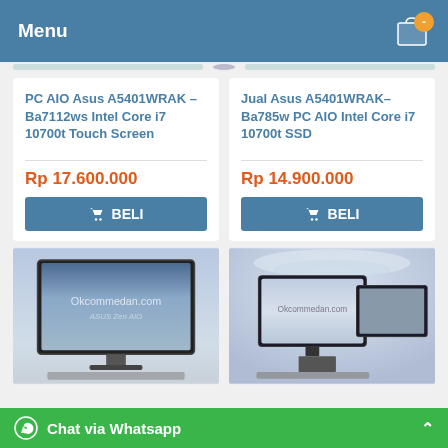Menu
PC AIO Asus A5401WRAK – Ba7112ws Intel Core i7 10700t Touch Screen
Rp 17.600.000
BELI
Jual Asus A5401WRAK– Ba785w PC AIO Intel Core i7 10700t SSD
Rp 14.900.000
BELI
[Figure (photo): ASUS Zen AIO desktop computer with text Okcommedan.com on screen]
[Figure (photo): ASUS AIO desktop computers with text Okcommedan.com on screen, multiple units shown]
Chat via Whatsapp